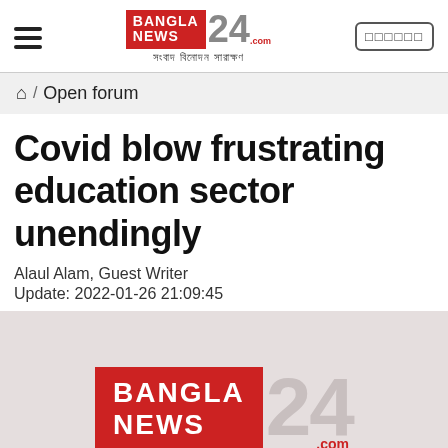BanglaNews24.com — সংবাদ বিনোদন সারাক্ষণ
🏠 / Open forum
Covid blow frustrating education sector unendingly
Alaul Alam, Guest Writer
Update: 2022-01-26 21:09:45
[Figure (logo): BanglaNews24.com logo on light pinkish-grey background]